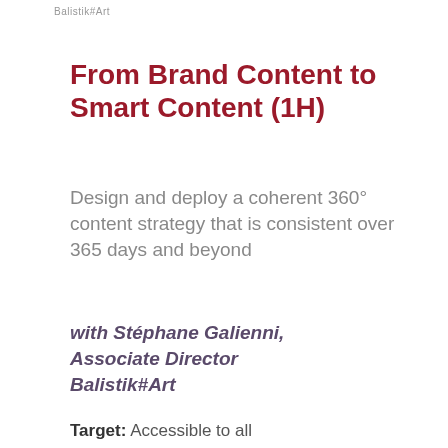Balistik#Art
From Brand Content to Smart Content (1H)
Design and deploy a coherent 360° content strategy that is consistent over 365 days and beyond
with Stéphane Galienni, Associate Director Balistik#Art
Target: Accessible to all